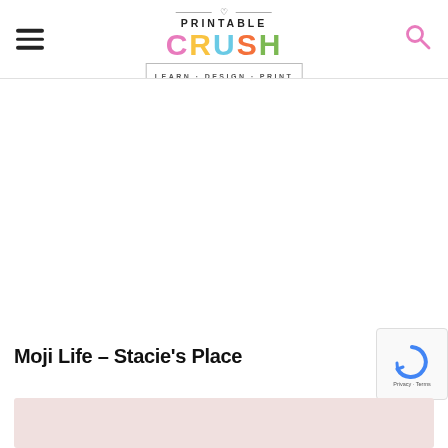PRINTABLE CRUSH — LEARN · DESIGN · PRINT
Moji Life – Stacie's Place
[Figure (screenshot): Thumbnail image of blog post content, partially visible at bottom of page]